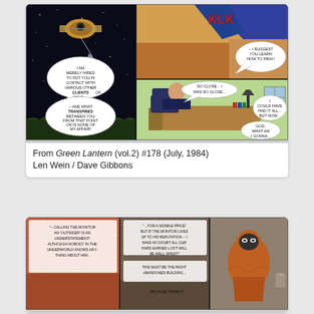[Figure (illustration): Comic book panels from Green Lantern vol.2 #178 showing a spaceship panel with speech bubbles and an interior office scene]
From Green Lantern (vol.2) #178 (July, 1984)
Len Wein / Dave Gibbons
[Figure (illustration): Comic book panels showing The Monitor with speech bubbles about calling him an outsider and a figure in an abandoned building]